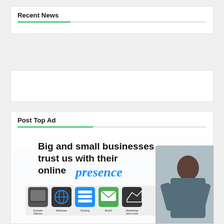Recent News
[Figure (illustration): Empty white box (content area)]
Post Top Ad
[Figure (photo): Advertisement banner: 'Big and small businesses trust us with their online presence' with icons for Domain Names, Websites, Hosting, Email, Marketing and more, and a smiling man in a suit]